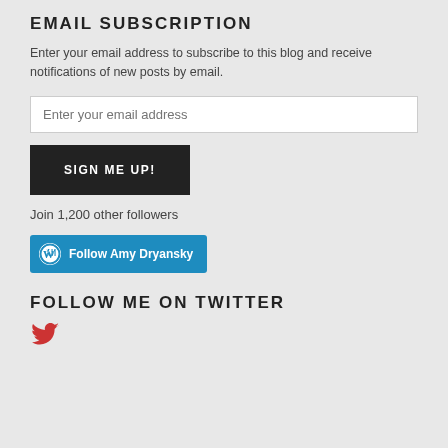EMAIL SUBSCRIPTION
Enter your email address to subscribe to this blog and receive notifications of new posts by email.
Enter your email address
SIGN ME UP!
Join 1,200 other followers
[Figure (other): Follow Amy Dryansky WordPress follow button with WordPress logo icon in blue]
FOLLOW ME ON TWITTER
[Figure (other): Twitter bird icon in red/salmon color]